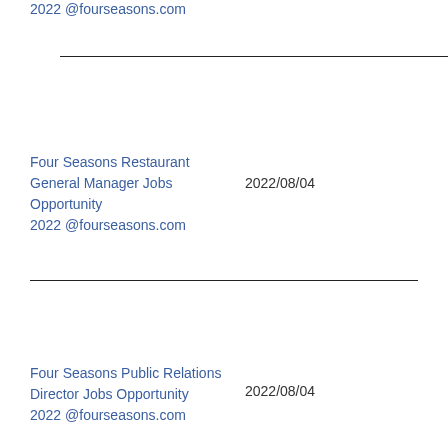2022 @fourseasons.com
Four Seasons Restaurant General Manager Jobs Opportunity
2022 @fourseasons.com
2022/08/04
Four Seasons Public Relations Director Jobs Opportunity
2022 @fourseasons.com
2022/08/04